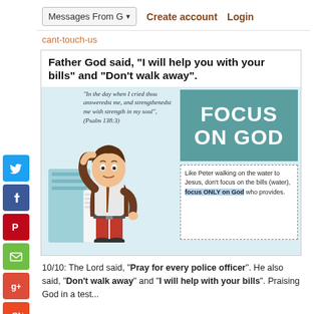Messages From G▾   Create account   Login
cant-touch-us
[Figure (infographic): Religious motivational infographic: 'Father God said, I will help you with your bills and Don't walk away.' with a cartoon stressed man holding bills, Psalm 138:3 quote, teal FOCUS ON GOD box, and Peter walking on water text box.]
10/10: The Lord said, "Pray for every police officer". He also said, "Don't walk away" and "I will help with your bills". Praising God in a test...